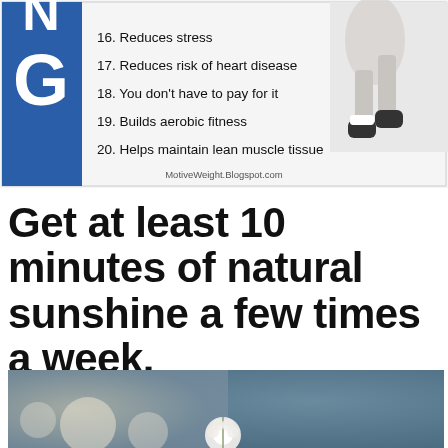[Figure (infographic): Infographic with blue letter G on left side and a list of walking benefits numbered 16-20, with a person walking on the right. Source: MotiveWeight.Blogspot.com. Items: 16. Reduces stress, 17. Reduces risk of heart disease, 18. You don't have to pay for it, 19. Builds aerobic fitness, 20. Helps maintain lean muscle tissue]
Get at least 10 minutes of natural sunshine a few times a week.
[Figure (photo): Blurred nature photo showing a dandelion or white flower in soft focus against a blurred green and blue bokeh background]